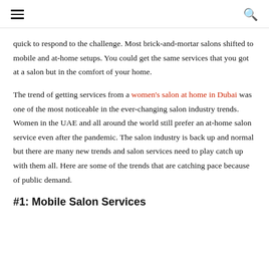≡  🔍
quick to respond to the challenge. Most brick-and-mortar salons shifted to mobile and at-home setups. You could get the same services that you got at a salon but in the comfort of your home.
The trend of getting services from a women's salon at home in Dubai was one of the most noticeable in the ever-changing salon industry trends. Women in the UAE and all around the world still prefer an at-home salon service even after the pandemic. The salon industry is back up and normal but there are many new trends and salon services need to play catch up with them all. Here are some of the trends that are catching pace because of public demand.
#1: Mobile Salon Services